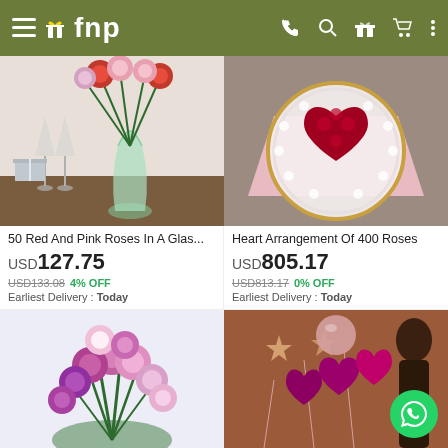fnp
[Figure (photo): 50 red and pink roses in a glass vase with champagne glasses]
[Figure (photo): Heart arrangement of 400 white and red roses on pink wrapping paper]
50 Red And Pink Roses In A Glas...
USD 127.75
USD 133.08  4% OFF
Earliest Delivery : Today
Heart Arrangement Of 400 Roses
USD 805.17
USD 813.17  0% OFF
Earliest Delivery : Today
[Figure (photo): Bouquet of pink, mauve and white roses]
[Figure (photo): Balloon arrangement with metallic rose gold and hot pink heart balloons]